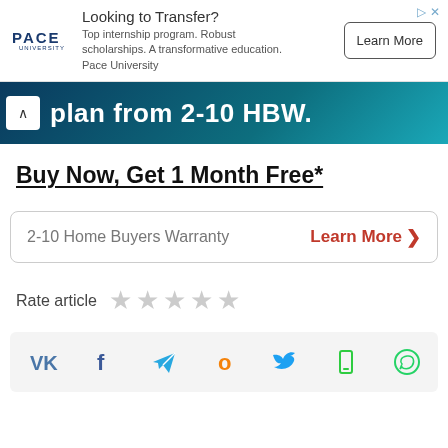[Figure (screenshot): Pace University advertisement banner with logo, headline 'Looking to Transfer?', body text, and 'Learn More' button]
[Figure (infographic): Dark teal/navy banner with caret icon and bold white text 'plan from 2-10 HBW.']
Buy Now, Get 1 Month Free*
2-10 Home Buyers Warranty   Learn More >
Rate article
[Figure (infographic): Social share bar with icons: VK, Facebook, Telegram, Odnoklassniki, Twitter, mobile, WhatsApp]